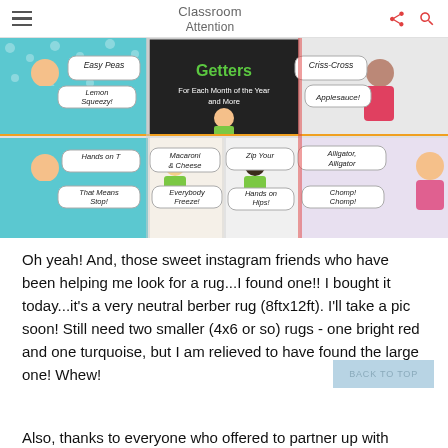Classroom Attention
[Figure (illustration): Collage of classroom attention getter cards featuring cartoon children with speech bubbles. Cards show phrases: Easy Peas, Lemon Squeezy, Hands on Top, That Means Stop, Macaroni & Cheese, Everybody Freeze, Zip Your Lips, Hands on Hips, Criss-Cross, Applesauce, Alligator Alligator, Chomp Chomp. Title card reads: Attention Getters For Each Month of the Year and More.]
Oh yeah!  And, those sweet instagram friends who have been helping me look for a rug...I found one!!  I bought it today...it's a very neutral berber rug (8ftx12ft).  I'll take a pic soon!  Still need two smaller (4x6 or so) rugs - one bright red and one turquoise, but I am relieved to have found the large one!  Whew!
Also, thanks to everyone who offered to partner up with